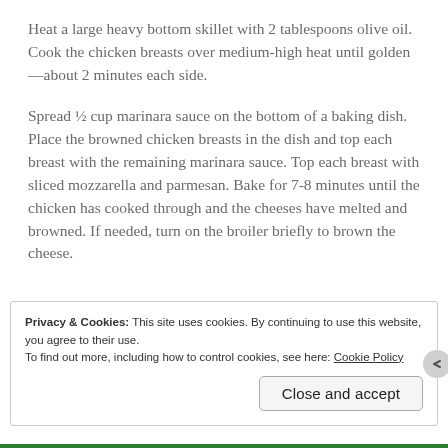Heat a large heavy bottom skillet with 2 tablespoons olive oil. Cook the chicken breasts over medium-high heat until golden—about 2 minutes each side.
Spread ½ cup marinara sauce on the bottom of a baking dish. Place the browned chicken breasts in the dish and top each breast with the remaining marinara sauce. Top each breast with sliced mozzarella and parmesan. Bake for 7-8 minutes until the chicken has cooked through and the cheeses have melted and browned. If needed, turn on the broiler briefly to brown the cheese.
Privacy & Cookies: This site uses cookies. By continuing to use this website, you agree to their use.
To find out more, including how to control cookies, see here: Cookie Policy
Close and accept